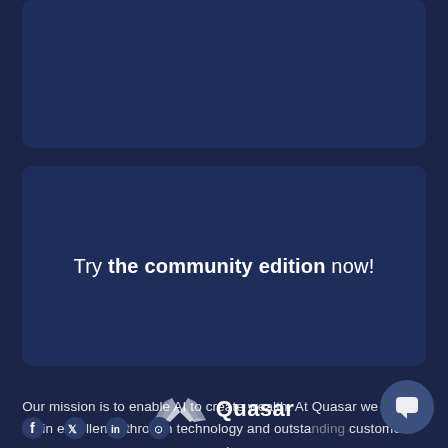[Figure (other): Top dark navy card/panel, partially visible at the top of the page]
Try the community edition now!
[Figure (logo): Quasar logo: diamond/mesh wing icon in white/silver followed by the text 'Quasar' in white]
Our mission is to enable AI to create wealth. At Quasar we believe in excellence through technology and outstanding customer service.
[Figure (other): Social media icons at the bottom: Facebook, Twitter, LinkedIn, GitHub, and another icon, partially visible]